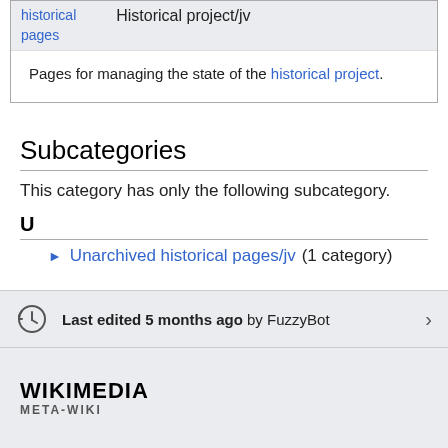| historical pages | Historical project/jv |
| --- | --- |
| Pages for managing the state of the historical project. |  |
Subcategories
This category has only the following subcategory.
U
Unarchived historical pages/jv (1 category)
Last edited 5 months ago by FuzzyBot
[Figure (logo): Wikimedia Meta-Wiki logo text]